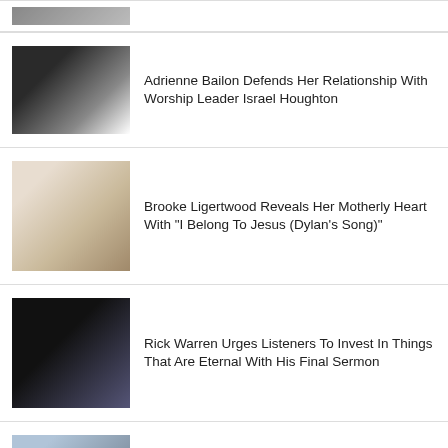[Figure (photo): Partial view of a couple at the top of the page]
Adrienne Bailon Defends Her Relationship With Worship Leader Israel Houghton
Brooke Ligertwood Reveals Her Motherly Heart With "I Belong To Jesus (Dylan's Song)"
Rick Warren Urges Listeners To Invest In Things That Are Eternal With His Final Sermon
Jason Gray Shares The Heart Behind His New Song "When I Say Yes"
[Figure (photo): Partial view of a colorful image at the bottom of the page]